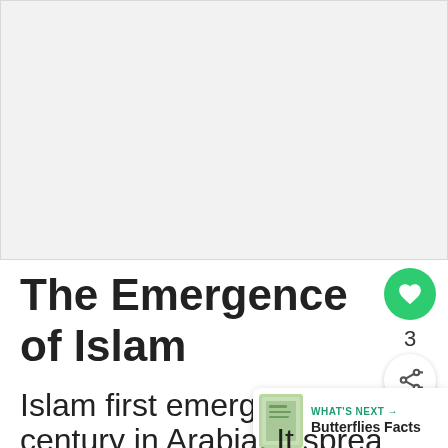[Figure (photo): Large image placeholder at top of page (light gray rectangle, content not visible)]
The Emergence of Islam
Islam first emerged in th
century in Arabia. It spread